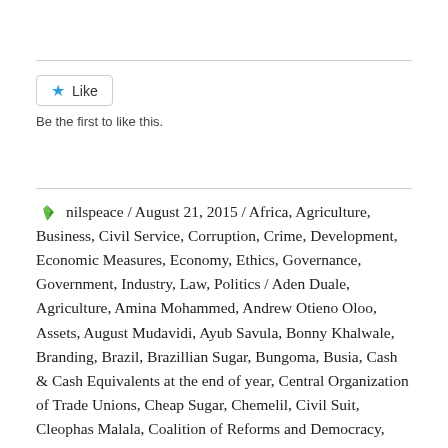[Figure (other): Horizontal divider line at top]
[Figure (other): Like button with blue star icon and text 'Like']
Be the first to like this.
[Figure (other): Horizontal divider line in middle]
nilspeace / August 21, 2015 / Africa, Agriculture, Business, Civil Service, Corruption, Crime, Development, Economic Measures, Economy, Ethics, Governance, Government, Industry, Law, Politics / Aden Duale, Agriculture, Amina Mohammed, Andrew Otieno Oloo, Assets, August Mudavidi, Ayub Savula, Bonny Khalwale, Branding, Brazil, Brazillian Sugar, Bungoma, Busia, Cash & Cash Equivalents at the end of year, Central Organization of Trade Unions, Cheap Sugar, Chemelil, Civil Suit, Cleophas Malala, Coalition of Reforms and Democracy, COMESA, COMESA Sugar, Commerical Bank, Commodity, Commodity Price, Common Market for Eastern and Southern Africa,